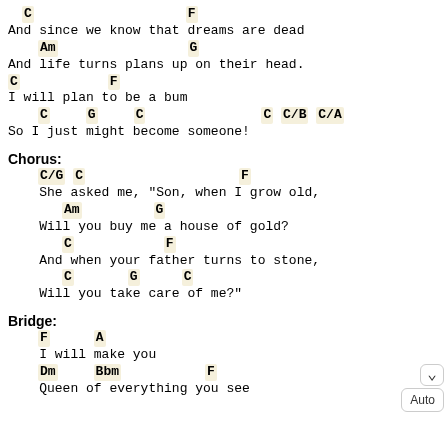C    F
And since we know that dreams are dead
    Am                G
And life turns plans up on their head.
C              F
I will plan to be a bum
    C      G      C                    C C/B C/A
So I just might become someone!
Chorus:
C/G C                         F
    She asked me, "Son, when I grow old,
          Am            G
    Will you buy me a house of gold?
          C               F
    And when your father turns to stone,
          C         G      C
    Will you take care of me?"
Bridge:
F      A
    I will make you
    Dm      Bbm           F
    Queen of everything you see